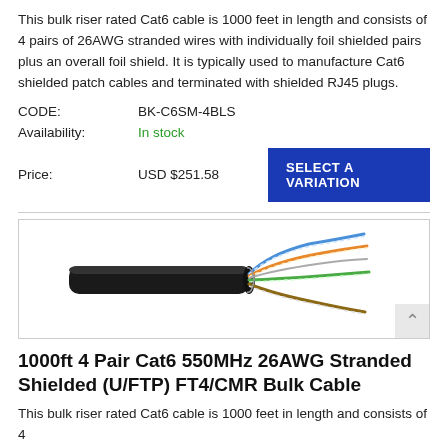This bulk riser rated Cat6 cable is 1000 feet in length and consists of 4 pairs of 26AWG stranded wires with individually foil shielded pairs plus an overall foil shield. It is typically used to manufacture Cat6 shielded patch cables and terminated with shielded RJ45 plugs.
CODE: BK-C6SM-4BLS
Availability: In stock
Price: USD $251.58
[Figure (photo): Photo of a Cat6 bulk cable showing a black outer jacket on the left with 4 pairs of twisted stranded wires (blue, orange, green, brown pairs) fanning out on the right end.]
1000ft 4 Pair Cat6 550MHz 26AWG Stranded Shielded (U/FTP) FT4/CMR Bulk Cable
This bulk riser rated Cat6 cable is 1000 feet in length and consists of 4